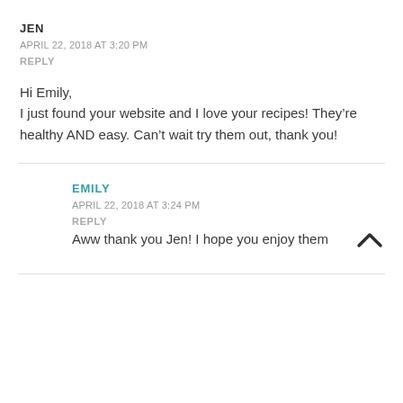JEN
APRIL 22, 2018 AT 3:20 PM
REPLY
Hi Emily,
I just found your website and I love your recipes! They're healthy AND easy. Can't wait try them out, thank you!
EMILY
APRIL 22, 2018 AT 3:24 PM
REPLY
Aww thank you Jen! I hope you enjoy them